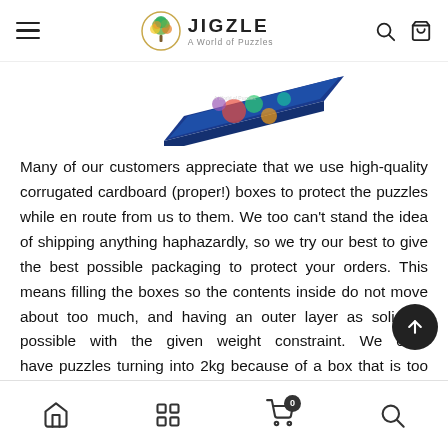JIGZLE A World of Puzzles
[Figure (photo): Partial view of a puzzle box with colorful image on blue background, shown at an angle]
Many of our customers appreciate that we use high-quality corrugated cardboard (proper!) boxes to protect the puzzles while en route from us to them. We too can't stand the idea of shipping anything haphazardly, so we try our best to give the best possible packaging to protect your orders. This means filling the boxes so the contents inside do not move about too much, and having an outer layer as solid as possible with the given weight constraint. We can't have puzzles turning into 2kg because of a box that is too heavy, and then ask our customer to bear the cost – it's neither
Home | Grid | Cart (0) | Search